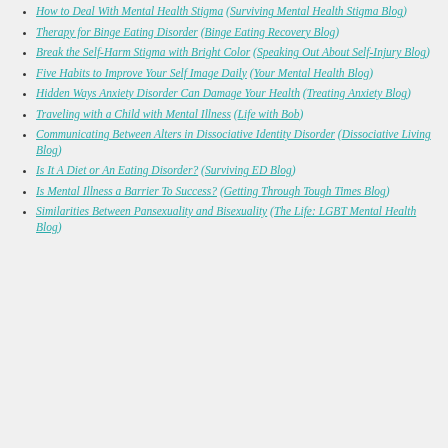How to Deal With Mental Health Stigma (Surviving Mental Health Stigma Blog)
Therapy for Binge Eating Disorder (Binge Eating Recovery Blog)
Break the Self-Harm Stigma with Bright Color (Speaking Out About Self-Injury Blog)
Five Habits to Improve Your Self Image Daily (Your Mental Health Blog)
Hidden Ways Anxiety Disorder Can Damage Your Health (Treating Anxiety Blog)
Traveling with a Child with Mental Illness (Life with Bob)
Communicating Between Alters in Dissociative Identity Disorder (Dissociative Living Blog)
Is It A Diet or An Eating Disorder? (Surviving ED Blog)
Is Mental Illness a Barrier To Success? (Getting Through Tough Times Blog)
Similarities Between Pansexuality and Bisexuality (The Life: LGBT Mental Health Blog)